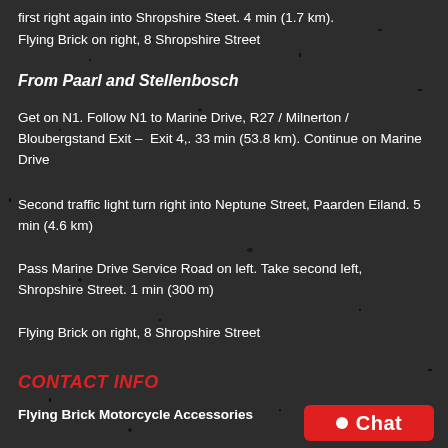first right again into Shropshire Steet. 4 min (1.7 km).
Flying Brick on right, 8 Shropshire Street
From Paarl and Stellenbosch
Get on N1. Follow N1 to Marine Drive, R27 / Milnerton / Bloubergstand Exit – Exit 4,. 33 min (53.8 km). Continue on Marine Drive
Second traffic light turn right into Neptune Street, Paarden Eiland. 5 min (4.6 km)
Pass Marine Drive Service Road on left. Take second left, Shropshire Street. 1 min (300 m)
Flying Brick on right, 8 Shropshire Street
CONTACT INFO
Flying Brick Motorcycle Accessories
[Figure (other): Chat button with red background, white circle dot icon, and white text 'Chat']